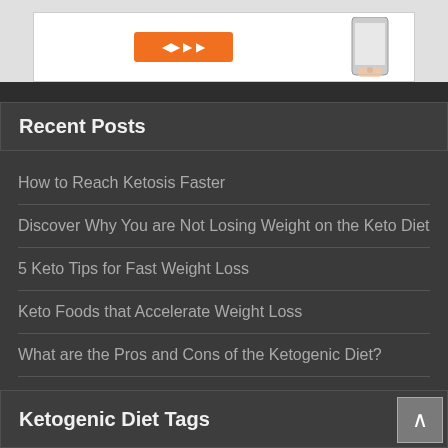[Figure (screenshot): Top portion of a webpage showing a promotional banner with an orange button and a hand holding a phone on white background, against light gray background.]
Recent Posts
How to Reach Ketosis Faster
Discover Why You are Not Losing Weight on the Keto Diet
5 Keto Tips for Fast Weight Loss
Keto Foods that Accelerate Weight Loss
What are the Pros and Cons of the Ketogenic Diet?
Ketogenic Diet Tags